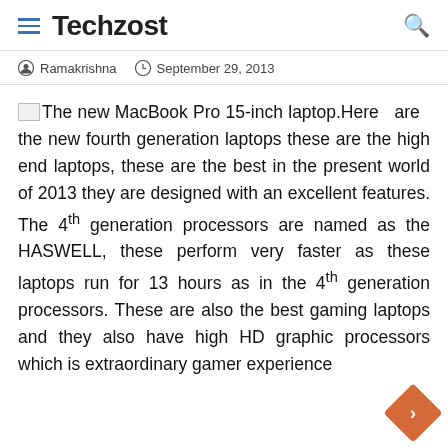Techzost
Ramakrishna   September 29, 2013
The new MacBook Pro 15-inch laptop. Here are the new fourth generation laptops these are the high end laptops, these are the best in the present world of 2013 they are designed with an excellent features. The 4th generation processors are named as the HASWELL, these perform very faster as these laptops run for 13 hours as in the 4th generation processors. These are also the best gaming laptops and they also have high HD graphic processors which is extraordinary gamer experience